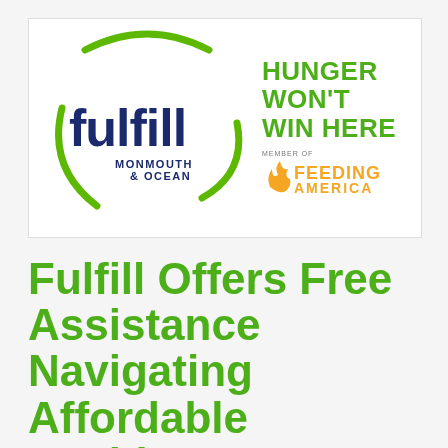[Figure (logo): Fulfill Monmouth & Ocean logo with green circle arc, dark navy 'fulfill' wordmark, 'MONMOUTH & OCEAN' subtitle, 'HUNGER WON'T WIN HERE' tagline in green, and 'MEMBER OF FEEDING AMERICA' badge in orange]
Fulfill Offers Free Assistance Navigating Affordable Healthcare Insurance